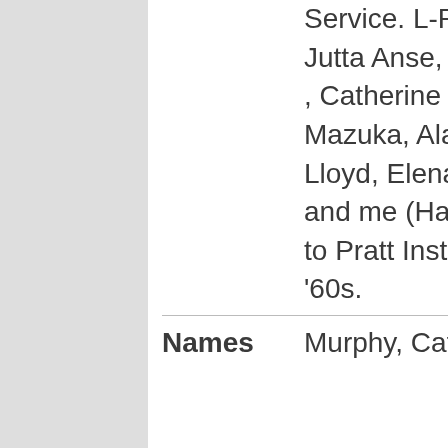|  |  |
| --- | --- |
|  | Service. L-R, LLoyd Goldsmith, Jutta Anse, Elena Lehman Hilfer, , Catherine Murphy, , Anita Mazuka, Alan Hilfer. Rosemary, Lloyd, Elena,Catherine, Anita and me (Harry Roseman) went to Pratt Institute together in the '60s. |
| Names | Murphy, Catherine |